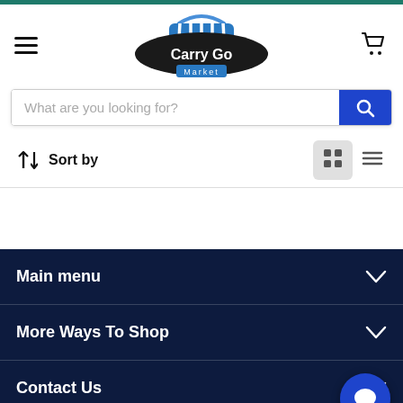[Figure (logo): Carry Go Market logo with shopping basket icon on dark oval background, blue 'Market' text below]
What are you looking for?
↓↑  Sort by
Main menu
More Ways To Shop
Contact Us